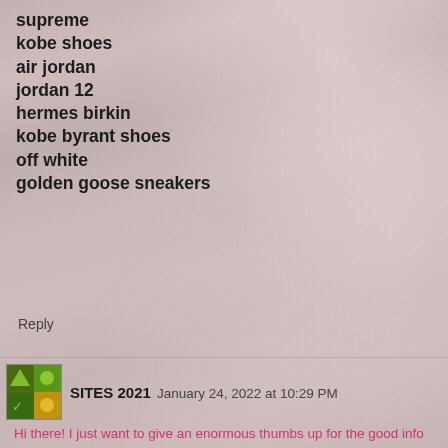supreme
kobe shoes
air jordan
jordan 12
hermes birkin
kobe byrant shoes
off white
golden goose sneakers
Reply
SITES 2021  January 24, 2022 at 10:29 PM
Hi there! I just want to give an enormous thumbs up for the good info you will have right here on this post. I might be coming back to your weblog for extra soon.
꿈꿈꿈
Reply
SITES 2021  January 24, 2022 at 10:29 PM
...are extremely impressed with your writing skills and...